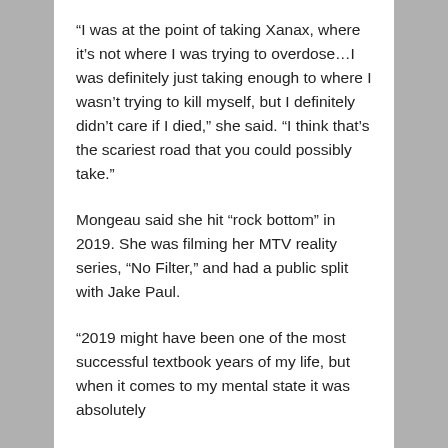“I was at the point of taking Xanax, where it’s not where I was trying to overdose…I was definitely just taking enough to where I wasn’t trying to kill myself, but I definitely didn’t care if I died,” she said. “I think that’s the scariest road that you could possibly take.”
Mongeau said she hit “rock bottom” in 2019. She was filming her MTV reality series, “No Filter,” and had a public split with Jake Paul.
“2019 might have been one of the most successful textbook years of my life, but when it comes to my mental state it was absolutely